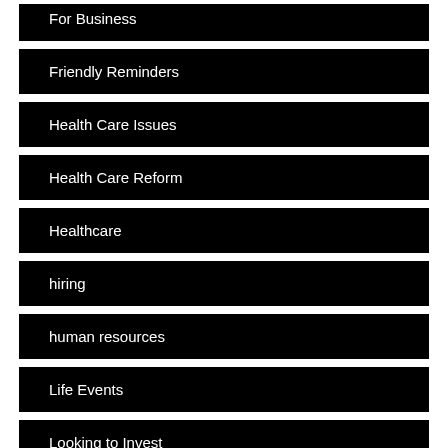For Business
Friendly Reminders
Health Care Issues
Health Care Reform
Healthcare
hiring
human resources
Life Events
Looking to Invest